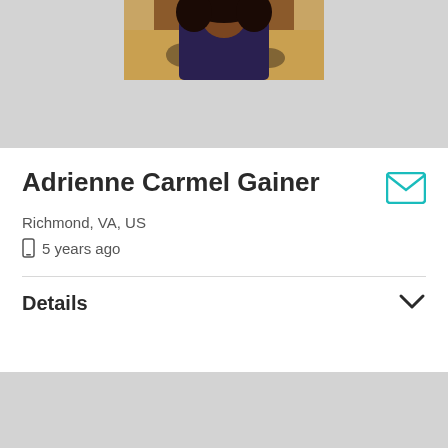[Figure (photo): Partial profile photo of Adrienne Carmel Gainer, showing upper body in a leopard print top, cropped at top of frame]
Adrienne Carmel Gainer
Richmond, VA, US
5 years ago
Details